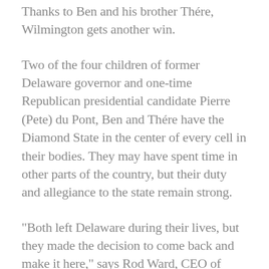Thanks to Ben and his brother Thére, Wilmington gets another win.
Two of the four children of former Delaware governor and one-time Republican presidential candidate Pierre (Pete) du Pont, Ben and Thére have the Diamond State in the center of every cell in their bodies. They may have spent time in other parts of the country, but their duty and allegiance to the state remain strong.
“Both left Delaware during their lives, but they made the decision to come back and make it here,” says Rod Ward, CEO of Corporation Service Company (CSC) a longtime friend of the brothers. “You and I could leave and slip back in, but with